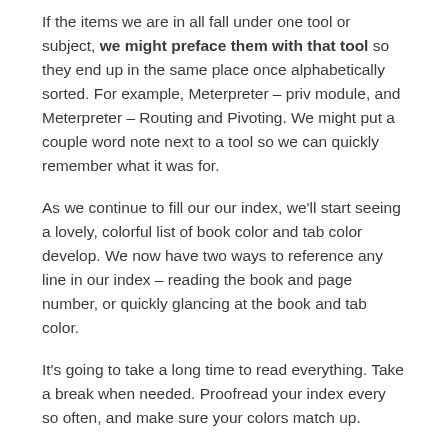If the items we are in all fall under one tool or subject, we might preface them with that tool so they end up in the same place once alphabetically sorted. For example, Meterpreter – priv module, and Meterpreter – Routing and Pivoting. We might put a couple word note next to a tool so we can quickly remember what it was for.
As we continue to fill our our index, we'll start seeing a lovely, colorful list of book color and tab color develop. We now have two ways to reference any line in our index – reading the book and page number, or quickly glancing at the book and tab color.
It's going to take a long time to read everything. Take a break when needed. Proofread your index every so often, and make sure your colors match up.
Eventually, our books will be tabbed, highlighted, and